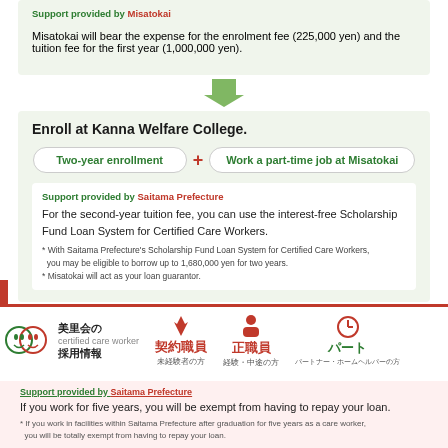Support provided by Misatokai
Misatokai will bear the expense for the enrolment fee (225,000 yen) and the tuition fee for the first year (1,000,000 yen).
Enroll at Kanna Welfare College.
Two-year enrollment
+
Work a part-time job at Misatokai
Support provided by Saitama Prefecture
For the second-year tuition fee, you can use the interest-free Scholarship Fund Loan System for Certified Care Workers.
* With Saitama Prefecture's Scholarship Fund Loan System for Certified Care Workers, you may be eligible to borrow up to 1,680,000 yen for two years.
* Misatokai will act as your loan guarantor.
Taking the exam
[Figure (infographic): Navigation bar with Misatokai logo, 美里会の採用情報 label, and icons for 契約職員 (未経験者の方), 正職員 (経験・中途の方), パート (パートナー・ホームヘルパーの方)]
Support provided by Saitama Prefecture
If you work for five years, you will be exempt from having to repay your loan.
* If you work in facilities within Saitama Prefecture after graduation for five years as a care worker, you will be totally exempt from having to repay your loan.